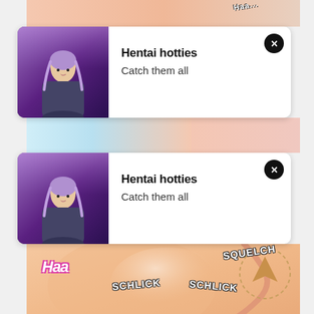[Figure (illustration): Top manga strip showing partial view of animated characters with skin tones]
[Figure (screenshot): First notification card with anime girl thumbnail, title 'Hentai hotties' and subtitle 'Catch them all', with close X button]
Hentai hotties
Catch them all
[Figure (illustration): Middle manga strip showing partial anime/manga panels with skin tones and dark background]
[Figure (screenshot): Second notification card with anime girl thumbnail, title 'Hentai hotties' and subtitle 'Catch them all', with close X button]
Hentai hotties
Catch them all
[Figure (illustration): Bottom manga strip showing explicit adult manga panel with text overlays: 'Haa', 'SQUELCH', 'SCHLICK', 'SCHLICK']
[Figure (other): Scroll-up arrow icon inside a dotted circle, tan/brown color, pointing upward]